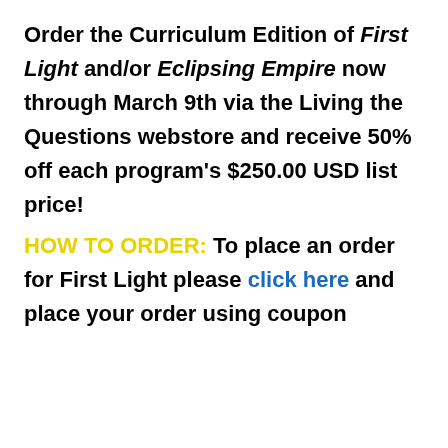Order the Curriculum Edition of First Light and/or Eclipsing Empire now through March 9th via the Living the Questions webstore and receive 50% off each program's $250.00 USD list price!
HOW TO ORDER: To place an order for First Light please click here and place your order using coupon